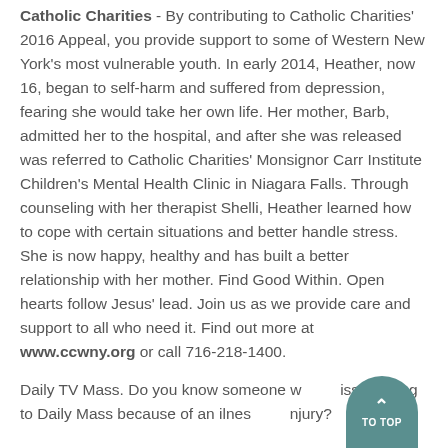Catholic Charities - By contributing to Catholic Charities' 2016 Appeal, you provide support to some of Western New York's most vulnerable youth. In early 2014, Heather, now 16, began to self-harm and suffered from depression, fearing she would take her own life. Her mother, Barb, admitted her to the hospital, and after she was released was referred to Catholic Charities' Monsignor Carr Institute Children's Mental Health Clinic in Niagara Falls. Through counseling with her therapist Shelli, Heather learned how to cope with certain situations and better handle stress. She is now happy, healthy and has built a better relationship with her mother. Find Good Within. Open hearts follow Jesus' lead. Join us as we provide care and support to all who need it. Find out more at www.ccwny.org or call 716-218-1400.
Daily TV Mass. Do you know someone who misses going to Daily Mass because of an illness or injury?